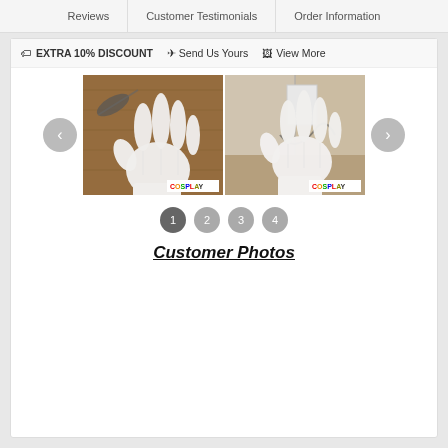Reviews
Customer Testimonials
Order Information
🏷 EXTRA 10% DISCOUNT  ✈ Send Us Yours  🖼 View More
[Figure (photo): Two photos of a hand wearing a white cosplay glove on a wooden surface, each with a COSPLAY watermark in the bottom right corner. Navigation arrows on left and right.]
1  2  3  4
Customer Photos